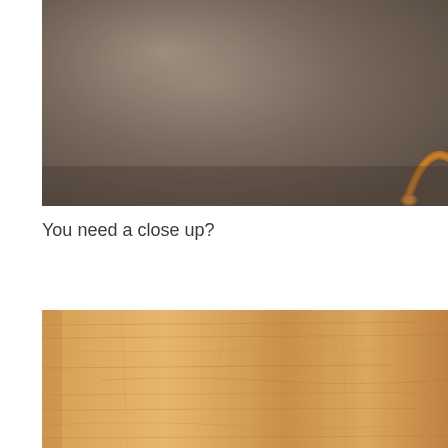[Figure (photo): A dark brownish-grey room interior photo showing a wall and what appears to be a copper or bronze door handle/fixture in the bottom right corner.]
You need a close up?
[Figure (photo): A close-up photo of a light-coloured wooden surface showing wood grain texture, appearing to be a door or panel in a warm tan/beige tone.]